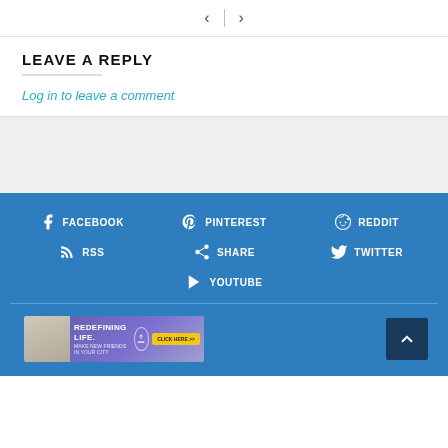< | >
LEAVE A REPLY
Log in to leave a comment
[Figure (screenshot): Gray empty area below the leave a reply section]
FACEBOOK  PINTEREST  REDDIT  RSS  SHARE  TWITTER  YOUTUBE
[Figure (infographic): Ad banner: REDEFINING LIFE. MAKE NEW FRIENDS IN YOUR CITY with click here button]